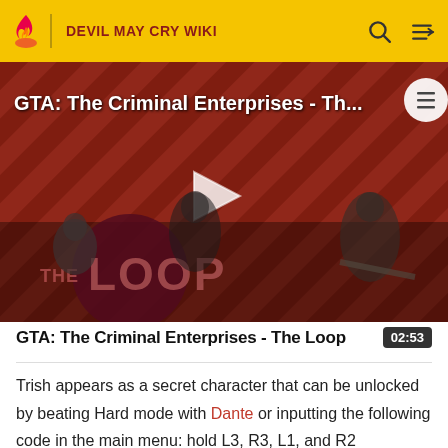DEVIL MAY CRY WIKI
[Figure (screenshot): Video thumbnail for 'GTA: The Criminal Enterprises - The Loop' showing video game characters on a red diagonal-striped background with a play button overlay and 'THE LOOP' text logo]
GTA: The Criminal Enterprises - The Loop
02:53
Trish appears as a secret character that can be unlocked by beating Hard mode with Dante or inputting the following code in the main menu: hold L3, R3, L1, and R2